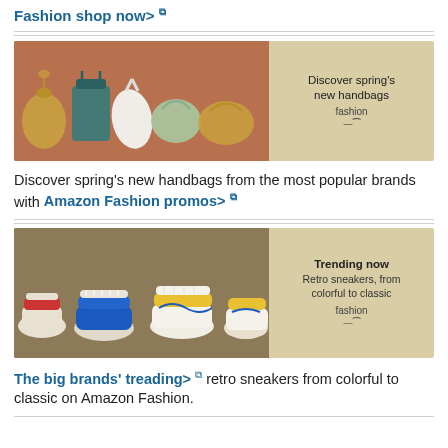Fashion shop now> 🔗
[Figure (photo): Banner image showing a row of colorful handbags on a reddish-brown surface with a text overlay on beige background: 'Discover spring's new handbags fashion' with Amazon logo]
Discover spring's new handbags from the most popular brands with Amazon Fashion promos> 🔗
[Figure (photo): Banner image showing a row of colorful retro sneakers arranged on a beige/tan background with text overlay: 'Trending now Retro sneakers, from colorful to classic fashion' with Amazon logo]
The big brands' treading> 🔗 retro sneakers from colorful to classic on Amazon Fashion.